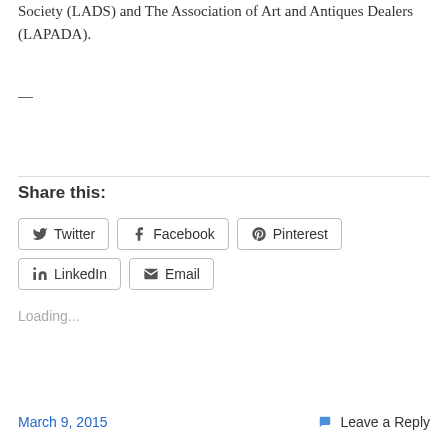Society (LADS) and The Association of Art and Antiques Dealers (LAPADA).
—
Share this:
Twitter  Facebook  Pinterest  LinkedIn  Email
Loading...
March 9, 2015
Leave a Reply